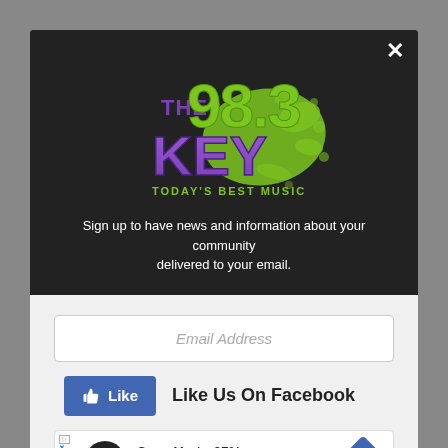[Figure (logo): 98.3 The Key - Today's Best Music radio station logo with green and purple colors and a green paint splatter]
Sign up to have news and information about your community delivered to your email.
Email Address
Like Us On Facebook
Save Up to 65%
Leesburg Premium Outlets